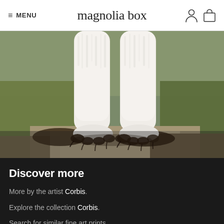≡ MENU   magnolia box
[Figure (photo): Close-up photograph of polar bear legs and paws standing on a mossy, wet rock. The white fur legs are prominent against a blurred greenish-grey background.]
Discover more
More by the artist Corbis.
Explore the collection Corbis.
Search for similar fine art prints